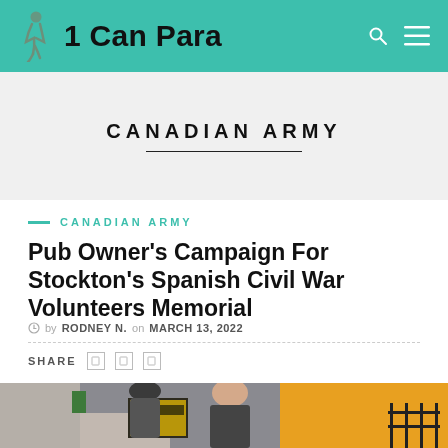1 Can Para
CANADIAN ARMY
CANADIAN ARMY
Pub Owner's Campaign For Stockton's Spanish Civil War Volunteers Memorial
by RODNEY N. on MARCH 13, 2022
SHARE
[Figure (photo): Two people standing outside in front of a yellow building with 'The Golden Ratio' pub sign visible in the background]